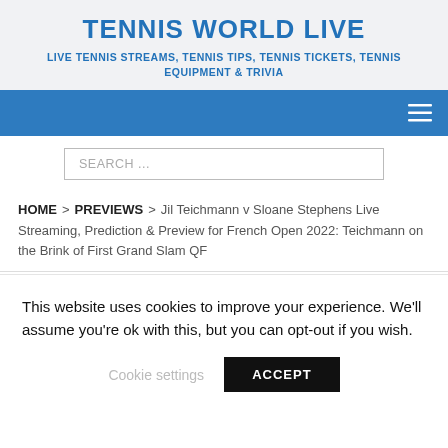TENNIS WORLD LIVE
LIVE TENNIS STREAMS, TENNIS TIPS, TENNIS TICKETS, TENNIS EQUIPMENT & TRIVIA
[Figure (other): Blue navigation bar with hamburger menu icon on the right]
SEARCH ...
HOME > PREVIEWS > Jil Teichmann v Sloane Stephens Live Streaming, Prediction & Preview for French Open 2022: Teichmann on the Brink of First Grand Slam QF
This website uses cookies to improve your experience. We'll assume you're ok with this, but you can opt-out if you wish.
Cookie settings   ACCEPT